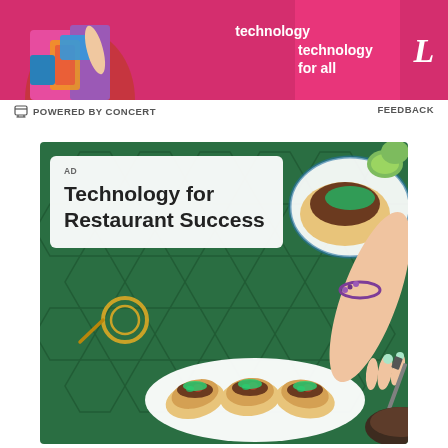[Figure (photo): Pink banner advertisement with woman holding laptop and colorful clothing, text 'technology for all' and stylized 'L' logo on right]
POWERED BY CONCERT
FEEDBACK
[Figure (photo): Advertisement card for 'Technology for Restaurant Success' showing overhead view of tacos and food on green hexagonal tile background, with a hand reaching for food on a decorative plate]
AD
Technology for Restaurant Success